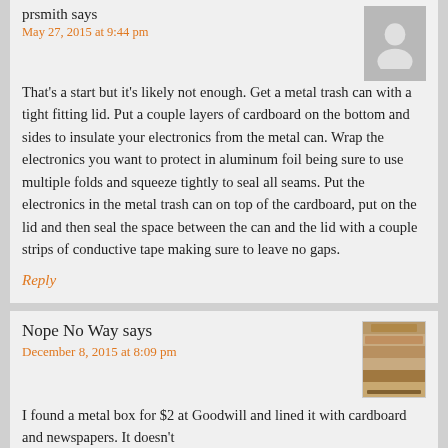prsmith says
May 27, 2015 at 9:44 pm
That's a start but it's likely not enough. Get a metal trash can with a tight fitting lid. Put a couple layers of cardboard on the bottom and sides to insulate your electronics from the metal can. Wrap the electronics you want to protect in aluminum foil being sure to use multiple folds and squeeze tightly to seal all seams. Put the electronics in the metal trash can on top of the cardboard, put on the lid and then seal the space between the can and the lid with a couple strips of conductive tape making sure to leave no gaps.
Reply
Nope No Way says
December 8, 2015 at 8:09 pm
I found a metal box for $2 at Goodwill and lined it with cardboard and newspapers. It doesn't